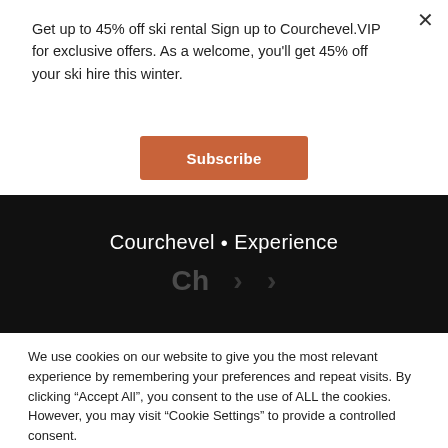Get up to 45% off ski rental Sign up to Courchevel.VIP for exclusive offers. As a welcome, you'll get 45% off your ski hire this winter.
Subscribe
Courchevel • Experience
We use cookies on our website to give you the most relevant experience by remembering your preferences and repeat visits. By clicking "Accept All", you consent to the use of ALL the cookies. However, you may visit "Cookie Settings" to provide a controlled consent.
Cookie Settings
Accept All